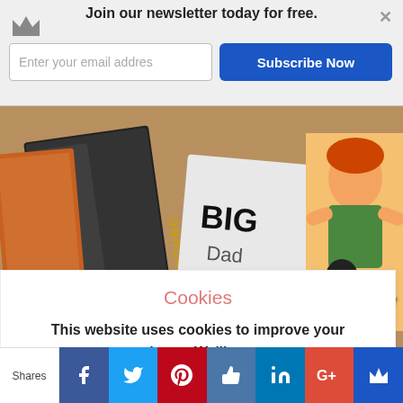Join our newsletter today for free. | Enter your email addres | Subscribe Now
[Figure (photo): Books laid on carpet surface with text '••Beauty Bri' overlaid in white typewriter font. Visible book titles include 'Mark De Young' and 'BIG Dad'. Cartoon illustration of characters visible on right side.]
Cookies
This website uses cookies to improve your experience. We'll assume you're ok with this, but you can opt-out if you wish.
Shares | Facebook | Twitter | Pinterest | Like | LinkedIn | Google+ | Crown